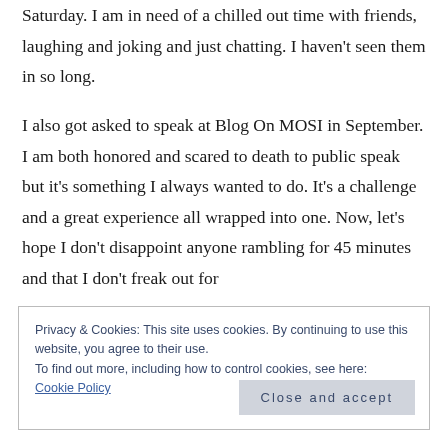Saturday. I am in need of a chilled out time with friends, laughing and joking and just chatting. I haven't seen them in so long.

I also got asked to speak at Blog On MOSI in September. I am both honored and scared to death to public speak but it's something I always wanted to do. It's a challenge and a great experience all wrapped into one. Now, let's hope I don't disappoint anyone rambling for 45 minutes and that I don't freak out for
Privacy & Cookies: This site uses cookies. By continuing to use this website, you agree to their use.
To find out more, including how to control cookies, see here: Cookie Policy
Close and accept